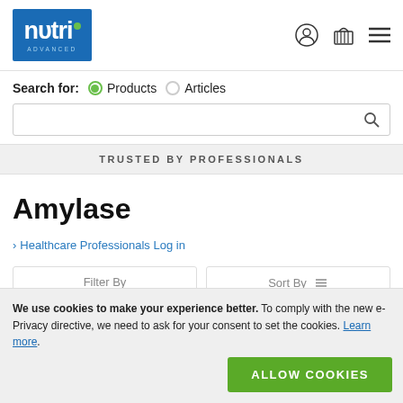[Figure (logo): Nutri Advanced blue logo with green dot]
nutri ADVANCED — with user icon, basket icon, and hamburger menu icon
Search for: Products (selected) Articles
Search input field with magnifying glass icon
TRUSTED BY PROFESSIONALS
Amylase
> Healthcare Professionals Log in
Filter By   Sort By
We use cookies to make your experience better. To comply with the new e-Privacy directive, we need to ask for your consent to set the cookies. Learn more.
ALLOW COOKIES